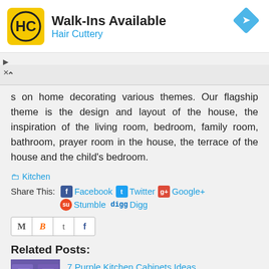[Figure (screenshot): Hair Cuttery advertisement banner with logo, 'Walk-Ins Available' heading, and navigation arrow icon]
s on home decorating various themes. Our flagship theme is the design and layout of the house, the inspiration of the living room, bedroom, family room, bathroom, prayer room in the house, the terrace of the house and the child's bedroom.
Kitchen
Share This:  Facebook  Twitter  Google+  Stumble  Digg
[Figure (screenshot): Social share icon bar with M, B, t, f icons]
Related Posts:
[Figure (photo): Thumbnail of purple kitchen cabinets]
7 Purple Kitchen Cabinets Ideas